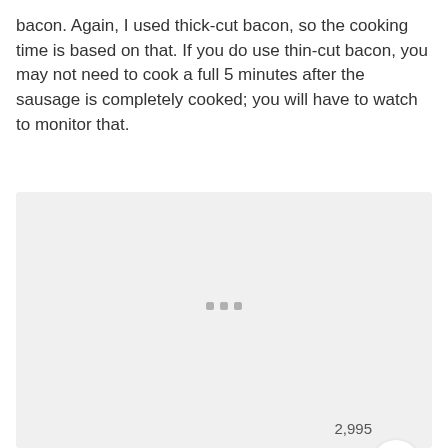bacon. Again, I used thick-cut bacon, so the cooking time is based on that. If you do use thin-cut bacon, you may not need to cook a full 5 minutes after the sausage is completely cooked; you will have to watch to monitor that.
[Figure (photo): A light gray image placeholder with three small gray square dots near the center bottom, and UI overlay elements: a number '2,995', a white circular heart/favorite button, and a teal circular search/magnify button on the right side.]